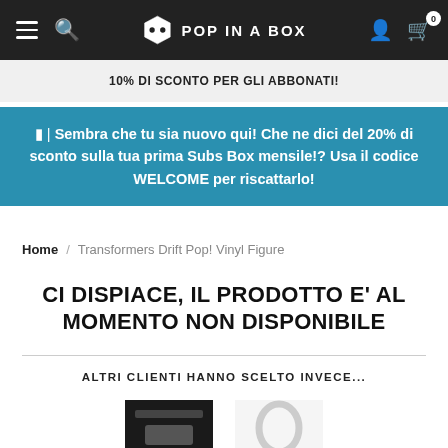POP IN A BOX
10% DI SCONTO PER GLI ABBONATI!
🔔 | Sembra che tu sia nuovo qui! Che ne dici del 20% di sconto sulla tua prima Subs Box mensile!? Usa il codice WELCOME per riscattarlo!
Home / Transformers Drift Pop! Vinyl Figure
CI DISPIACE, IL PRODOTTO E' AL MOMENTO NON DISPONIBILE
ALTRI CLIENTI HANNO SCELTO INVECE...
[Figure (photo): Two product thumbnails partially visible at bottom of page]